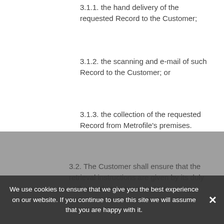3.1.1. the hand delivery of the requested Record to the Customer;
3.1.2. the scanning and e-mail of such Record to the Customer; or
3.1.3. the collection of the requested Record from Metrofile's premises.
3.2. The Customer shall ensure that the retrieval instructions are given by its duly authorised representative/s in writing.
3.3. The Customer must pay Metrofile the prevailing rates applicable for retrieval service in full prior to retrieval of such Records.
3.4. Metrofile undertakes to use its best endeavours to retrieve documents for the Customer within the time limits agreed to in writing, or failing such agreement, within a reasonable period of time.
We use cookies to ensure that we give you the best experience on our website. If you continue to use this site we will assume that you are happy with it.